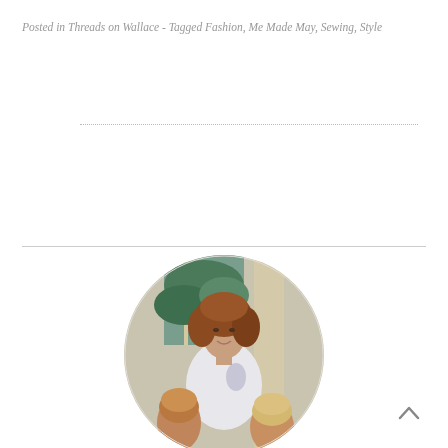Posted in Threads on Wallace - Tagged Fashion, Me Made May, Sewing, Style
[Figure (photo): Circular cropped photo of a smiling woman with curly auburn hair seated with two young children, photographed near a window with greenery visible outside.]